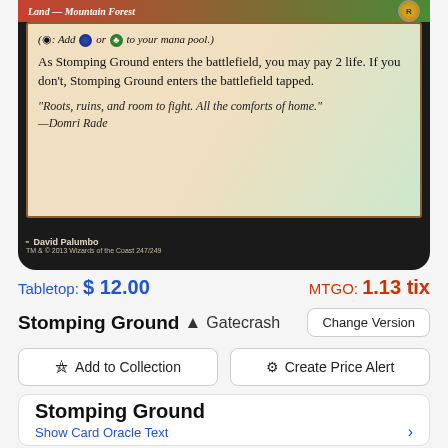[Figure (photo): Magic: The Gathering card 'Stomping Ground' from Gatecrash set. Shows card text box with tap ability, rules text about entering battlefield, and flavor quote from Domri Rade. Artist: David Palumbo. TM & © 2013 Wizards of the Coast 247/249.]
Tabletop: $ 12.00
MTGO: 1.13 tix
Stomping Ground  Gatecrash  Change Version
Add to Collection
Create Price Alert
Stomping Ground
Show Card Oracle Text